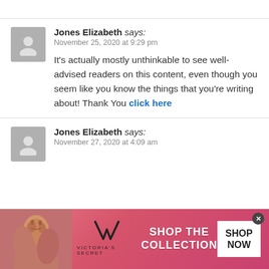Jones Elizabeth says: November 25, 2020 at 9:29 pm — It's actually mostly unthinkable to see well-advised readers on this content, even though you seem like you know the things that you're writing about! Thank You click here
Jones Elizabeth says: November 27, 2020 at 4:09 am
[Figure (photo): Victoria's Secret advertisement banner with model photo, VS logo, SHOP THE COLLECTION text, and SHOP NOW button]